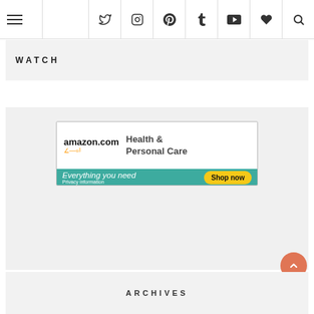Navigation bar with hamburger menu and social icons: Twitter, Instagram, Pinterest, Tumblr, YouTube, Heart, Search
WATCH
[Figure (screenshot): Amazon.com Health & Personal Care advertisement banner. Text: 'amazon.com Health & Personal Care Everything you need Shop now'. Teal bottom strip with white italic text and yellow Shop now button. Privacy information text at bottom left.]
ARCHIVES